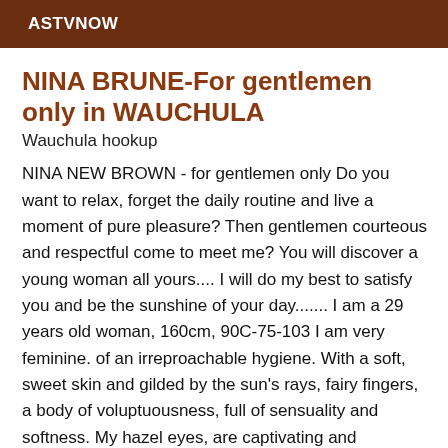ASTVNOW
NINA BRUNE-For gentlemen only in WAUCHULA
Wauchula hookup
NINA NEW BROWN - for gentlemen only Do you want to relax, forget the daily routine and live a moment of pure pleasure? Then gentlemen courteous and respectful come to meet me? You will discover a young woman all yours.... I will do my best to satisfy you and be the sunshine of your day....... I am a 29 years old woman, 160cm, 90C-75-103 I am very feminine. of an irreproachable hygiene. With a soft, sweet skin and gilded by the sun's rays, fairy fingers, a body of voluptuousness, full of sensuality and softness. My hazel eyes, are captivating and mischievously illuminate my angelic face. I move to your hotel or home. Very selective, I work only by feeling and I reserve the right to refuse any meeting that does not correspond to my